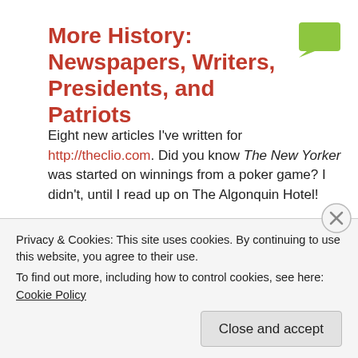More History: Newspapers, Writers, Presidents, and Patriots
Eight new articles I've written for http://theclio.com. Did you know The New Yorker was started on winnings from a poker game? I didn't, until I read up on The Algonquin Hotel!
Woodlawn Manor Cultural Park, Maryland
Weybosset Bridge, Providence, Rhode Island
Shakespeare's Head (John Carter House), Providence, Rhode Island
Privacy & Cookies: This site uses cookies. By continuing to use this website, you agree to their use.
To find out more, including how to control cookies, see here: Cookie Policy
Close and accept